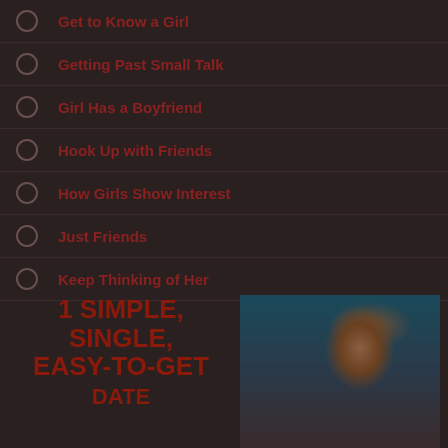Get to Know a Girl
Getting Past Small Talk
Girl Has a Boyfriend
Hook Up with Friends
How Girls Show Interest
Just Friends
Keep Thinking of Her
1 SIMPLE, SINGLE, EASY-TO-GET DATE
[Figure (photo): Young woman photographed from behind with hair up, standing in front of a building with a blue-toned background]